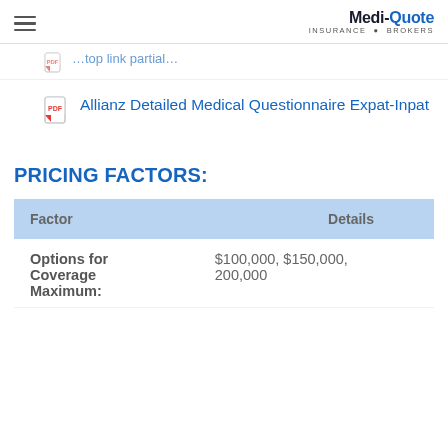Medi-Quote Insurance Brokers
Allianz Detailed Medical Questionnaire Expat-Inpat
PRICING FACTORS:
| Factor | Details |
| --- | --- |
| Options for Coverage Maximum: | $100,000, $150,000, 200,000 |